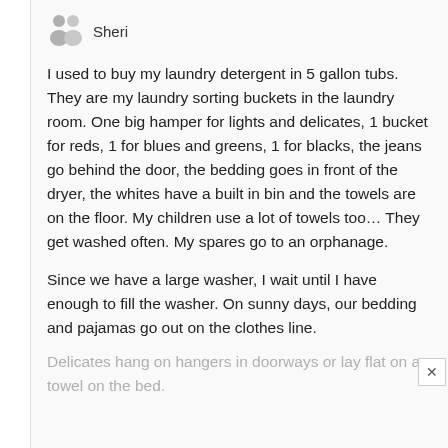[Figure (illustration): Gray silhouette avatar icon representing user 'Sheri']
Sheri
I used to buy my laundry detergent in 5 gallon tubs. They are my laundry sorting buckets in the laundry room. One big hamper for lights and delicates, 1 bucket for reds, 1 for blues and greens, 1 for blacks, the jeans go behind the door, the bedding goes in front of the dryer, the whites have a built in bin and the towels are on the floor. My children use a lot of towels too… They get washed often. My spares go to an orphanage.
Since we have a large washer, I wait until I have enough to fill the washer. On sunny days, our bedding and pajamas go out on the clothes line.
Delicates hang on hangers in doorways or lay flat on a towel on the bed.